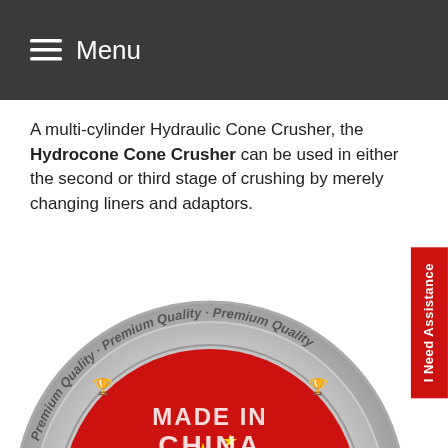≡ Menu
A multi-cylinder Hydraulic Cone Crusher, the Hydrocone Cone Crusher can be used in either the second or third stage of crushing by merely changing liners and adaptors.
[Figure (photo): A circular badge/seal with 'Premium Quality' text around the rim and 'MADE IN CHINA' text on a red background with a Chinese flag (yellow stars), silver metallic border ring.]